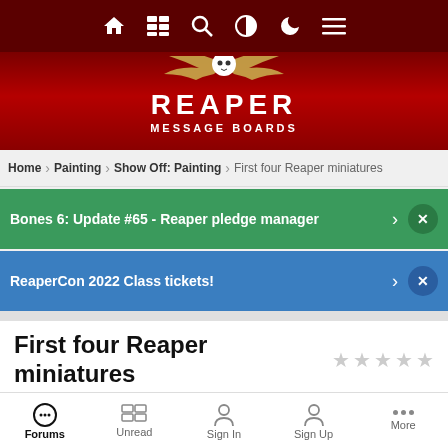Top navigation bar with home, news, search, contrast, night mode, and menu icons
[Figure (logo): Reaper Message Boards logo with skull and wings icon, white text on dark red background]
Home > Painting > Show Off: Painting > First four Reaper miniatures
Bones 6: Update #65 - Reaper pledge manager >
ReaperCon 2022 Class tickets! >
First four Reaper miniatures
By Void
Forums | Unread | Sign In | Sign Up | More